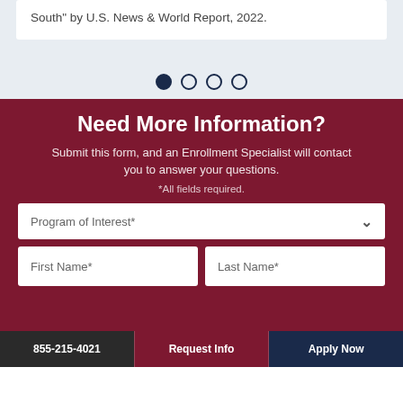South" by U.S. News & World Report, 2022.
[Figure (other): Carousel navigation dots: one filled (active) and three empty circles]
Need More Information?
Submit this form, and an Enrollment Specialist will contact you to answer your questions.
*All fields required.
Program of Interest*
First Name*
Last Name*
855-215-4021   Request Info   Apply Now